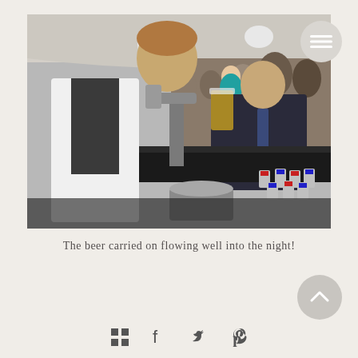[Figure (photo): A bartender in a white shirt and dark vest pours a pint of beer from a tap at a bar, while a man in a dark suit and tie sits at the bar smiling. In the background, many people are gathered at what appears to be a wedding reception or party event in a marquee tent. Cans of beer are stacked on the bar counter.]
The beer carried on flowing well into the night!